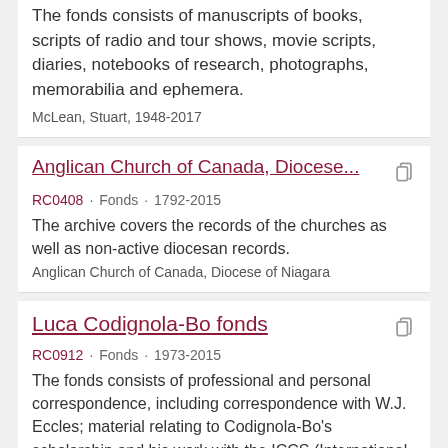The fonds consists of manuscripts of books, scripts of radio and tour shows, movie scripts, diaries, notebooks of research, photographs, memorabilia and ephemera.
McLean, Stuart, 1948-2017
Anglican Church of Canada, Diocese...
RC0408 · Fonds · 1792-2015
The archive covers the records of the churches as well as non-active diocesan records.
Anglican Church of Canada, Diocese of Niagara
Luca Codignola-Bo fonds
RC0912 · Fonds · 1973-2015
The fonds consists of professional and personal correspondence, including correspondence with W.J. Eccles; material relating to Codignola-Bo's scholarship and his work with the ICCS (International Council for Canadian Studies), the